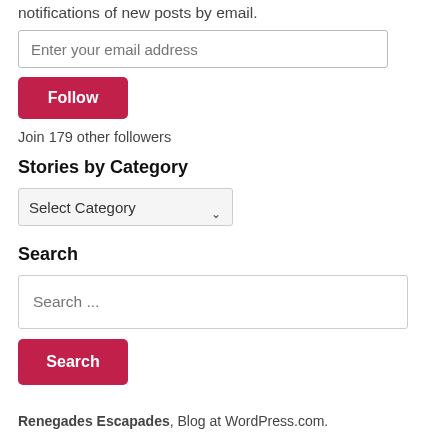notifications of new posts by email.
Enter your email address
Follow
Join 179 other followers
Stories by Category
Select Category
Search
Search ...
Search
Renegades Escapades, Blog at WordPress.com.